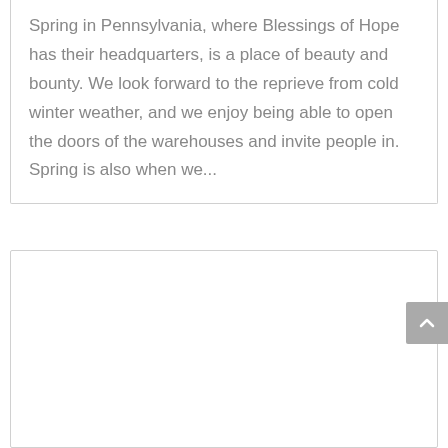Spring in Pennsylvania, where Blessings of Hope has their headquarters, is a place of beauty and bounty. We look forward to the reprieve from cold winter weather, and we enjoy being able to open the doors of the warehouses and invite people in. Spring is also when we...
[Figure (other): Empty white card/box with border, partially visible at bottom of page]